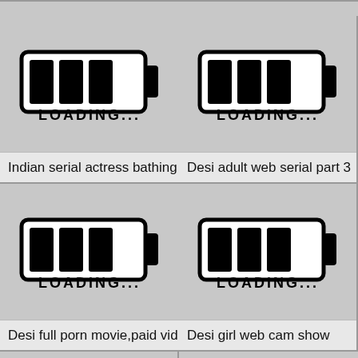[Figure (screenshot): Grid of video thumbnails showing loading battery icon placeholders with LOADING... text]
Indian serial actress bathing ...
Desi adult web serial part 3
[Figure (screenshot): Loading battery icon placeholder with LOADING... text]
[Figure (screenshot): Loading battery icon placeholder with LOADING... text]
Desi full porn movie,paid vid...
Desi girl web cam show
[Figure (screenshot): Loading battery icon placeholder with LOADING... text]
[Figure (screenshot): Loading battery icon placeholder with LOADING... text]